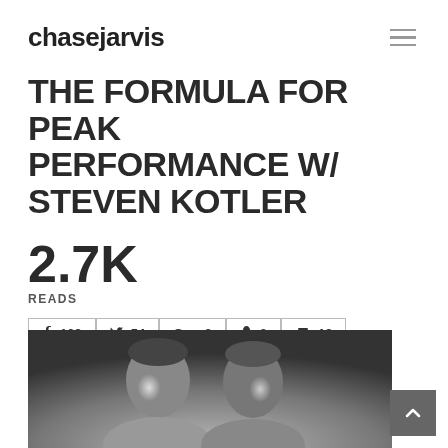chasejarvis
THE FORMULA FOR PEAK PERFORMANCE W/ STEVEN KOTLER
2.7K READS
f 109  54  G+ 3  0  19
[Figure (photo): Black and white photo of two men smiling, from shoulders up]